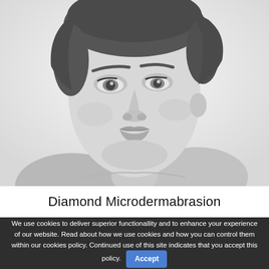[Figure (photo): Black and white portrait photo of a young woman with fair skin looking slightly upward and to the right, against a light background. The image shows her face and upper shoulders/neck.]
Diamond Microdermabrasion
We use cookies to deliver superior functionallity and to enhance your experience of our website. Read about how we use cookies and how you can control them within our cookies policy. Continued use of this site indicates that you accept this policy. Accept